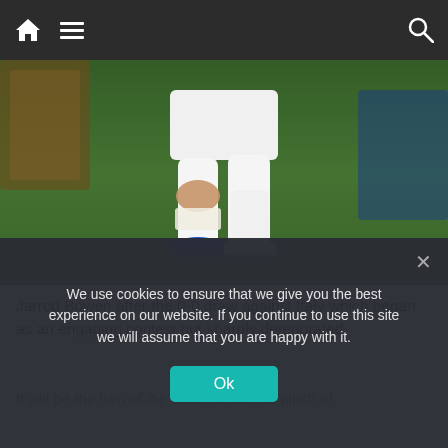Navigation bar with home, menu, and search icons
[Figure (photo): Close-up photo of a soccer player's legs on a green pitch, wearing white shorts, white socks, and blue cleats, holding or touching knee area after a match.]
Jarrod Bowen after the 0-0 draw against Italy which began as an engaging contest but sharply deteriorated
It will be the turn of the clubs to feel the pinch at
We use cookies to ensure that we give you the best experience on our website. If you continue to use this site we will assume that you are happy with it.